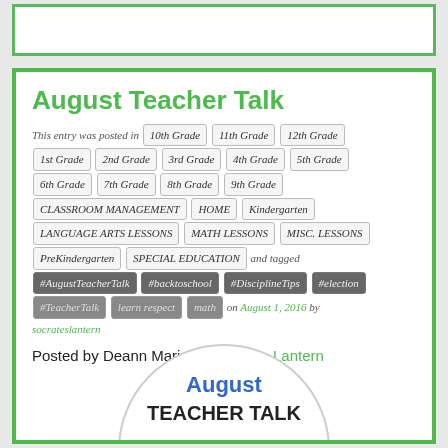[Figure (other): White box with green border at top of page]
August Teacher Talk
This entry was posted in 10th Grade 11th Grade 12th Grade 1st Grade 2nd Grade 3rd Grade 4th Grade 5th Grade 6th Grade 7th Grade 8th Grade 9th Grade CLASSROOM MANAGEMENT HOME Kindergarten LANGUAGE ARTS LESSONS MATH LESSONS MISC. LESSONS PreKindergarten SPECIAL EDUCATION and tagged #AugustTeacherTalk #backtoschool #DisciplineTips #election #TeacherTalk learn respect math on August 1, 2016 by socrateslantern
Posted by Deann Marin of Socrates Lantern
[Figure (illustration): Circular logo with 'August TEACHER TALK' text partially visible at bottom of card]